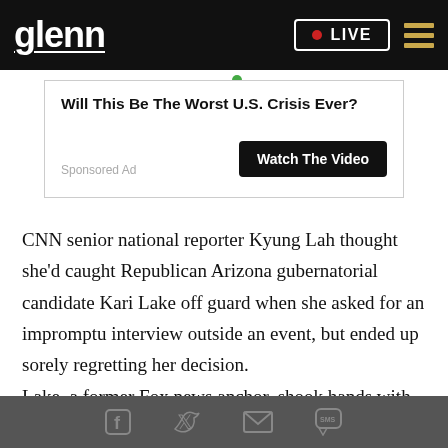glenn  LIVE
[Figure (other): Sponsored ad banner with text 'Will This Be The Worst U.S. Crisis Ever?' and a 'Watch The Video' button. Labeled 'Sponsored Ad'.]
CNN senior national reporter Kyung Lah thought she'd caught Republican Arizona gubernatorial candidate Kari Lake off guard when she asked for an impromptu interview outside an event, but ended up sorely regretting her decision.
Lake, a former Fox news anchor, shook hands with
Social share icons: Facebook, Twitter, Email, SMS